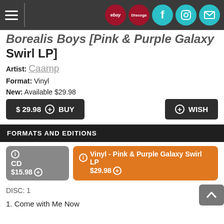Borealis Boys [Pink & Purple Galaxy Swirl LP]
Borealis Boys [Pink & Purple Galaxy Swirl LP]
Artist: Caamp
Format: Vinyl
New: Available $29.98
$ 29.98  + BUY    + WISH
FORMATS AND EDITIONS
CD $15.98   Vinyl - Pink & Purple Galaxy Swirl LP $29.98
DISC: 1
1. Come with Me Now